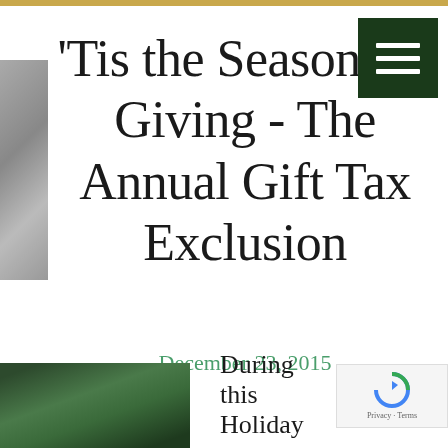'Tis the Season for Giving - The Annual Gift Tax Exclusion
December 23, 2015
During this Holiday